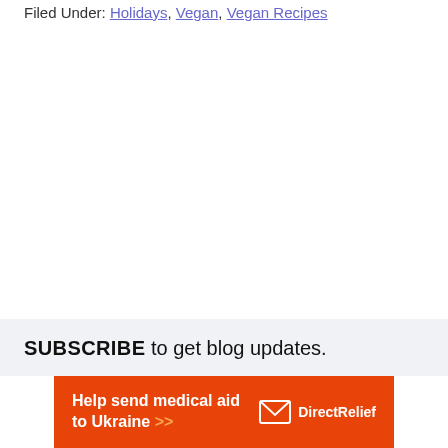Filed Under: Holidays, Vegan, Vegan Recipes
SUBSCRIBE to get blog updates.
[Figure (other): Orange advertisement banner for Direct Relief: Help send medical aid to Ukraine >>]